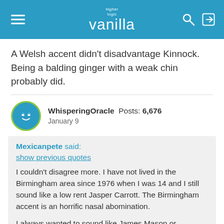higher logic vanilla
A Welsh accent didn't disadvantage Kinnock. Being a balding ginger with a weak chin probably did.
WhisperingOracle  Posts: 6,676  January 9
Mexicanpete said:
show previous quotes
I couldn't disagree more. I have not lived in the Birmingham area since 1976 when I was 14 and I still sound like a low rent Jasper Carrott. The Birmingham accent is an horrific nasal abomination.

I always wanted to sound like James Mason or